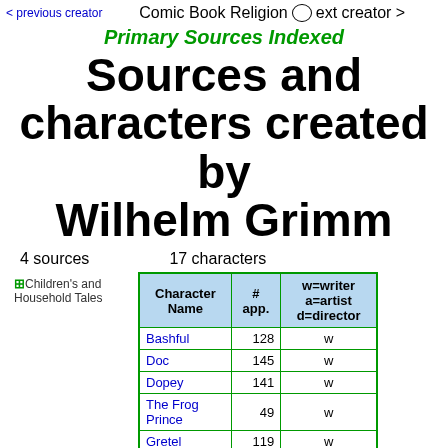< previous creator   Comic Book Religion   next creator >
Primary Sources Indexed
Sources and characters created by Wilhelm Grimm
4 sources   17 characters
+ Children's and Household Tales
| Character Name | # app. | w=writer a=artist d=director |
| --- | --- | --- |
| Bashful | 128 | w |
| Doc | 145 | w |
| Dopey | 141 | w |
| The Frog Prince | 49 | w |
| Gretel | 119 | w |